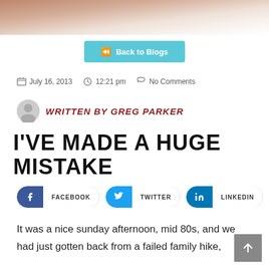[Figure (photo): Partial image of snowy/earthy landscape at top of page]
◄◄ Back to Blogs
July 16, 2013   12:21 pm   No Comments
WRITTEN BY GREG PARKER
I'VE MADE A HUGE MISTAKE
[Figure (infographic): Social share buttons: Facebook, Twitter, LinkedIn]
It was a nice sunday afternoon, mid 80s, and we had just gotten back from a failed family hike,